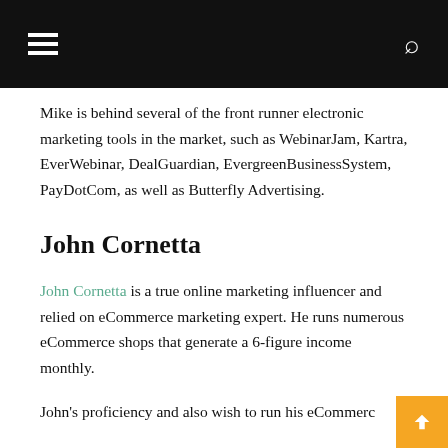Navigation bar with hamburger menu and search icon
Mike is behind several of the front runner electronic marketing tools in the market, such as WebinarJam, Kartra, EverWebinar, DealGuardian, EvergreenBusinessSystem, PayDotCom, as well as Butterfly Advertising.
John Cornetta
John Cornetta is a true online marketing influencer and relied on eCommerce marketing expert. He runs numerous eCommerce shops that generate a 6-figure income monthly.
John's proficiency and also wish to run his eCommerc